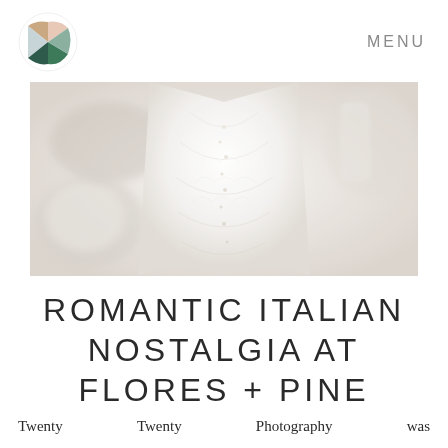MENU
[Figure (photo): Close-up of a white lace wedding dress bodice with delicate beaded details, soft blurred background with plates and glassware]
ROMANTIC ITALIAN NOSTALGIA AT FLORES + PINE
Twenty Twenty Photography was